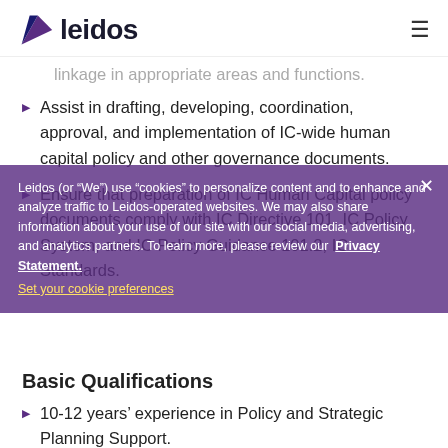leidos
linkage in appropriate areas and functions.
Assist in drafting, developing, coordination, approval, and implementation of IC-wide human capital policy and other governance documents.
Ensure that preparation of IC Human Capital policy documents comply with IC Directive 101, IC Policy System, and IC Policy Guidance 101.2, IC Standards.
Basic Qualifications
10-12 years' experience in Policy and Strategic Planning Support.
Active TS/SCI Clearance with Poly.
Leidos (or "We") use "cookies" to personalize content and to enhance and analyze traffic to Leidos-operated websites. We may also share information about your use of our site with our social media, advertising, and analytics partners. To learn more, please review our Privacy Statement. Set your cookie preferences